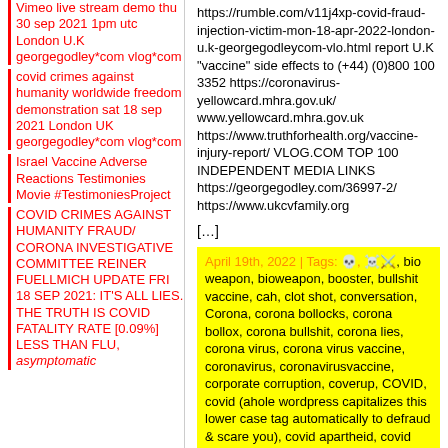Vimeo live stream demo thu 30 sep 2021 1pm utc London U.K georgegodley*com vlog*com
covid crimes against humanity worldwide freedom demonstration sat 18 sep 2021 London UK georgegodley*com vlog*com
Israel Vaccine Adverse Reactions Testimonies Movie #TestimoniesProject
COVID CRIMES AGAINST HUMANITY FRAUD/ CORONA INVESTIGATIVE COMMITTEE REINER FUELLMICH UPDATE FRI 18 SEP 2021: IT'S ALL LIES. THE TRUTH IS COVID FATALITY RATE [0.09%] LESS THAN FLU, asymptomatic
https://rumble.com/v11j4xp-covid-fraud-injection-victim-mon-18-apr-2022-london-u.k-georgegodleycom-vlo.html report U.K "vaccine" side effects to (+44) (0)800 100 3352 https://coronavirus-yellowcard.mhra.gov.uk/ www.yellowcard.mhra.gov.uk https://www.truthforhealth.org/vaccine-injury-report/ VLOG.COM TOP 100 INDEPENDENT MEDIA LINKS https://georgegodley.com/36997-2/ https://www.ukcvfamily.org
[...]
April 19th, 2022 | Tags: 💀, ☠️, bio weapon, bioweapon, booster, bullshit vaccine, cah, clot shot, conversation, Corona, corona bollocks, corona bollox, corona bullshit, corona lies, corona virus, corona virus vaccine, coronavirus, coronavirusvaccine, corporate corruption, coverup, COVID, covid (ahole wordpress capitalizes this lower case tag automatically to defraud & scare you), covid apartheid, covid bullshit, covid coverup, covid crime, covid crimes against humanity, covid death